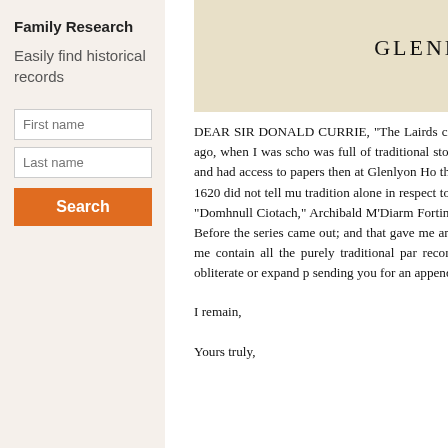Family Research
Easily find historical records
[Figure (screenshot): Input form with First name, Last name fields and an orange Search button]
[Figure (photo): Sepia/cream image strip with text GLENLYON BROOCH and (See Page ...)]
DEAR SIR DONALD CURRIE, "The Lairds circulation from the old files of the Perthshire instalments, long, long ago, when I was scho was full of traditional stories I had heard in my miller of St. Eonan's Mill, and many other ag and had access to papers then at Glenlyon Ho the good fortune to save from being burned. V the few that dated from 1620 did not tell mu tradition alone in respect to the earlier histor informants, who were John M'Arthur alias "la alias "Domhnull Ciotach," Archibald M'Diarm Fortingall veteran soldier, John Campbell ali modes of telling their stories. Before the series came out; and that gave me an opportunity of therefore contain within itself recorded histor before me contain all the purely traditional par recorded history, and the elucidatory light it t confuse chronology and obliterate or expand p sending you for an appendix to the reprint a fe historical backbone, and to atone for the defec
I remain,
Yours truly,